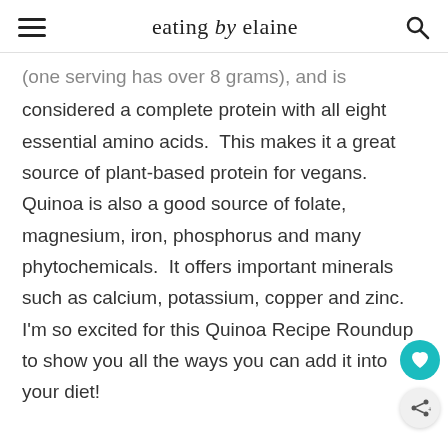eating by elaine
(one serving has over 8 grams), and is considered a complete protein with all eight essential amino acids.  This makes it a great source of plant-based protein for vegans.  Quinoa is also a good source of folate, magnesium, iron, phosphorus and many phytochemicals.  It offers important minerals such as calcium, potassium, copper and zinc.  I'm so excited for this Quinoa Recipe Roundup to show you all the ways you can add it into your diet!